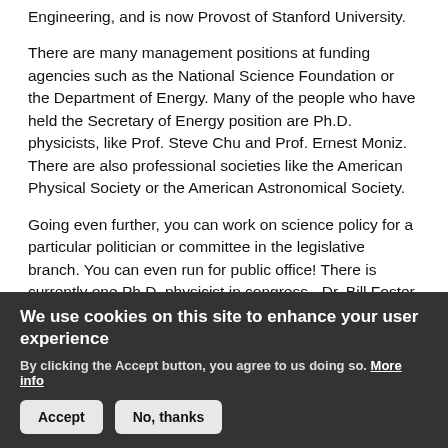Engineering, and is now Provost of Stanford University.
There are many management positions at funding agencies such as the National Science Foundation or the Department of Energy. Many of the people who have held the Secretary of Energy position are Ph.D. physicists, like Prof. Steve Chu and Prof. Ernest Moniz. There are also professional societies like the American Physical Society or the American Astronomical Society.
Going even further, you can work on science policy for a particular politician or committee in the legislative branch. You can even run for public office! There is currently one Ph.D. physicist in congress - Dr. Bill Foster, senator from Illinois.
Private industry: You can apply your technical skills working for a private company, or for a different type of organization (like the nonprofit Bill and Melinda Gates Foundation). This can be in a number of different industries, including data science, finance and
We use cookies on this site to enhance your user experience
By clicking the Accept button, you agree to us doing so. More info
Accept
No, thanks